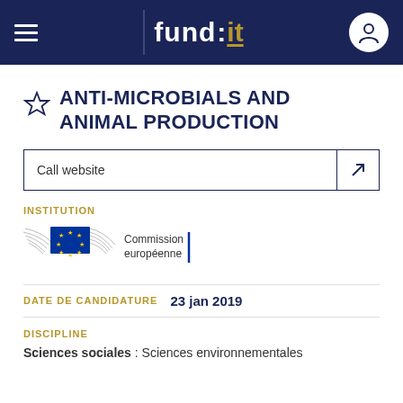fund it
ANTI-MICROBIALS AND ANIMAL PRODUCTION
Call website
INSTITUTION
[Figure (logo): European Commission logo with EU flag and text 'Commission européenne']
DATE DE CANDIDATURE  23 jan 2019
DISCIPLINE
Sciences sociales : Sciences environnementales